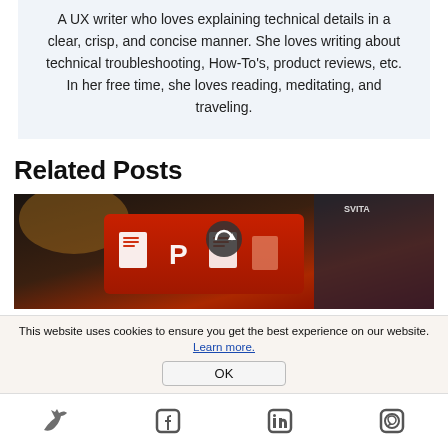A UX writer who loves explaining technical details in a clear, crisp, and concise manner. She loves writing about technical troubleshooting, How-To's, product reviews, etc. In her free time, she loves reading, meditating, and traveling.
Related Posts
[Figure (photo): A photo showing a PowerPoint-related image with document icons on a dark red/orange background with a refresh/loading icon overlay]
This website uses cookies to ensure you get the best experience on our website. Learn more.
OK